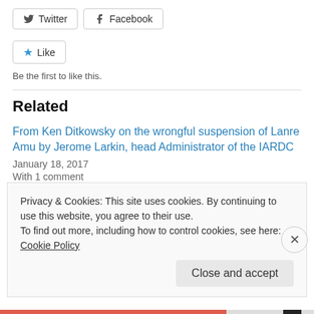[Figure (other): Twitter and Facebook share buttons]
[Figure (other): Like button with star icon]
Be the first to like this.
Related
From Ken Ditkowsky on the wrongful suspension of Lanre Amu by Jerome Larkin, head Administrator of the IARDC
January 18, 2017
With 1 comment
From Ken Ditkowsky: Jerome Larkin continues to hide behind
Privacy & Cookies: This site uses cookies. By continuing to use this website, you agree to their use.
To find out more, including how to control cookies, see here: Cookie Policy